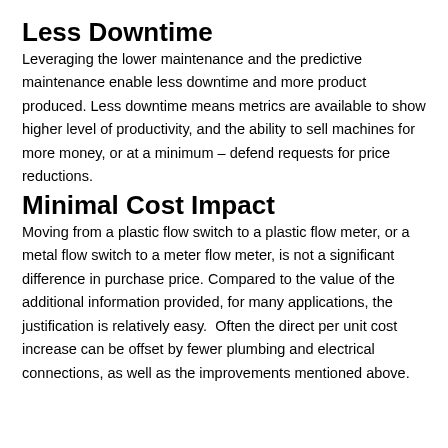Less Downtime
Leveraging the lower maintenance and the predictive maintenance enable less downtime and more product produced. Less downtime means metrics are available to show higher level of productivity, and the ability to sell machines for more money, or at a minimum – defend requests for price reductions.
Minimal Cost Impact
Moving from a plastic flow switch to a plastic flow meter, or a metal flow switch to a meter flow meter, is not a significant difference in purchase price. Compared to the value of the additional information provided, for many applications, the justification is relatively easy.  Often the direct per unit cost increase can be offset by fewer plumbing and electrical connections, as well as the improvements mentioned above.